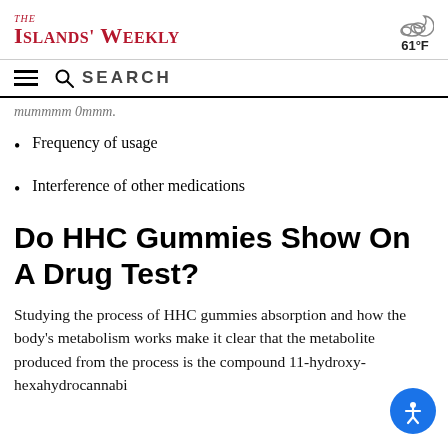The Islands' Weekly — 61°F
Frequency of usage
Interference of other medications
Do HHC Gummies Show On A Drug Test?
Studying the process of HHC gummies absorption and how the body's metabolism works make it clear that the metabolite produced from the process is the compound 11-hydroxy-hexahydrocannabi…